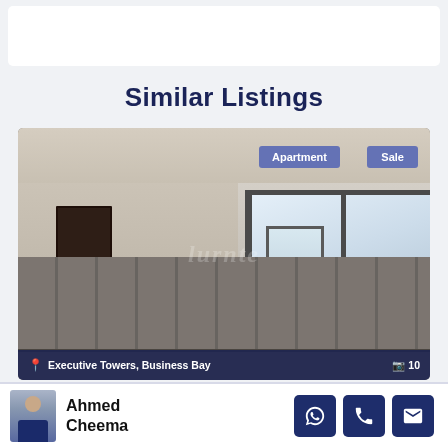Similar Listings
[Figure (photo): Interior photo of an empty apartment with beige walls, dark door on left, large sliding glass windows on right, tiled floor. Badges: 'Apartment' and 'Sale' in purple. Bottom bar shows 'Executive Towers Business Bay' with camera icon and '10'.]
Ahmed Cheema
[Figure (other): Agent contact buttons: WhatsApp, Phone, Email icons in dark blue squares]